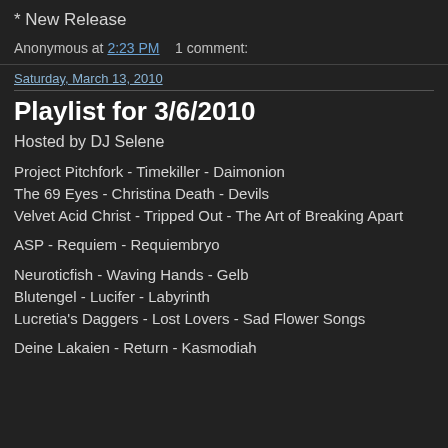* New Release
Anonymous at 2:23 PM   1 comment:
Saturday, March 13, 2010
Playlist for 3/6/2010
Hosted by DJ Selene
Project Pitchfork - Timekiller - Daimonion
The 69 Eyes - Christina Death - Devils
Velvet Acid Christ - Tripped Out - The Art of Breaking Apart
ASP - Requiem - Requiembryo
Neuroticfish - Waving Hands - Gelb
Blutengel - Lucifer - Labyrinth
Lucretia's Daggers - Lost Lovers - Sad Flower Songs
Deine Lakaien - Return - Kasmodiah